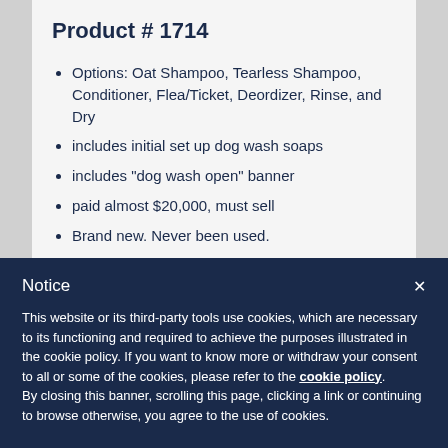Product # 1714
Options: Oat Shampoo, Tearless Shampoo, Conditioner, Flea/Ticket, Deordizer, Rinse, and Dry
includes initial set up dog wash soaps
includes "dog wash open" banner
paid almost $20,000, must sell
Brand new. Never been used.
► MORE
Notice
This website or its third-party tools use cookies, which are necessary to its functioning and required to achieve the purposes illustrated in the cookie policy. If you want to know more or withdraw your consent to all or some of the cookies, please refer to the cookie policy.
By closing this banner, scrolling this page, clicking a link or continuing to browse otherwise, you agree to the use of cookies.